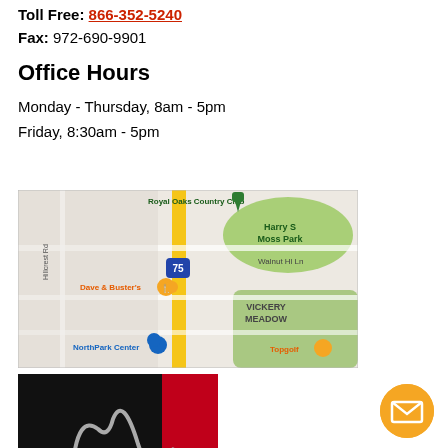Toll Free: 866-352-5240
Fax: 972-690-9901
Office Hours
Monday - Thursday, 8am - 5pm
Friday, 8:30am - 5pm
[Figure (map): Google Maps screenshot showing area around Royal Oaks Country Club, Harry S Moss Park, Dave & Buster's, NorthPark Center, Vickery Meadow, Topgolf, with US-75 highway visible]
[Figure (logo): Company logo with black and red background and white stylized letter M]
[Figure (other): Orange circular email/contact button with envelope icon]